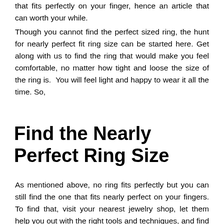that fits perfectly on your finger, hence an article that can worth your while.
Though you cannot find the perfect sized ring, the hunt for nearly perfect fit ring size can be started here. Get along with us to find the ring that would make you feel comfortable, no matter how tight and loose the size of the ring is. You will feel light and happy to wear it all the time. So,
Find the Nearly Perfect Ring Size
As mentioned above, no ring fits perfectly but you can still find the one that fits nearly perfect on your fingers. To find that, visit your nearest jewelry shop, let them help you out with the right tools and techniques, and find the size your